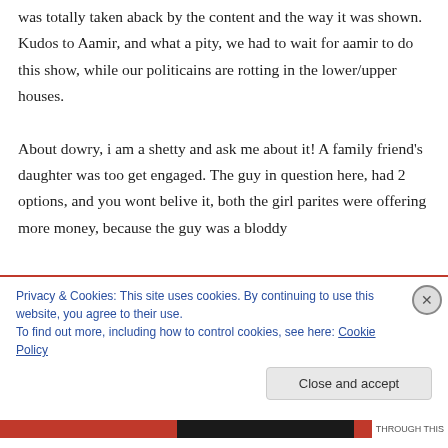was totally taken aback by the content and the way it was shown. Kudos to Aamir, and what a pity, we had to wait for aamir to do this show, while our politicains are rotting in the lower/upper houses.

About dowry, i am a shetty and ask me about it! A family friend's daughter was too get engaged. The guy in question here, had 2 options, and you wont belive it, both the girl parites were offering more money, because the guy was a bloddy
Privacy & Cookies: This site uses cookies. By continuing to use this website, you agree to their use.
To find out more, including how to control cookies, see here: Cookie Policy
Close and accept